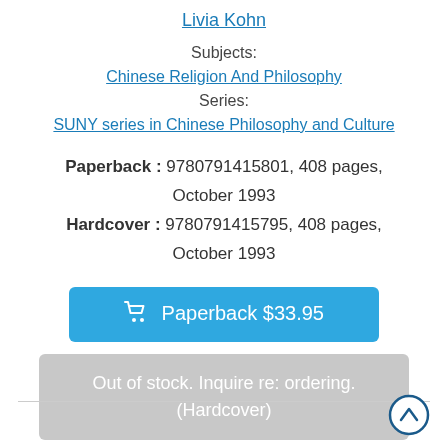Livia Kohn
Subjects:
Chinese Religion And Philosophy
Series:
SUNY series in Chinese Philosophy and Culture
Paperback : 9780791415801, 408 pages, October 1993
Hardcover : 9780791415795, 408 pages, October 1993
Paperback $33.95
Out of stock. Inquire re: ordering.
(Hardcover)